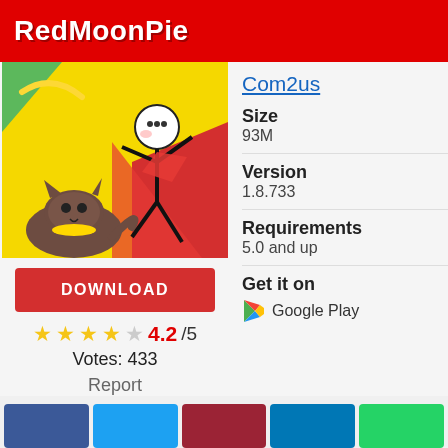RedMoonPie
[Figure (illustration): App screenshot showing cartoon characters - a white stick figure person and a brown cat on a yellow background with red elements]
Com2us
Size
93M
Version
1.8.733
Requirements
5.0 and up
Get it on
Google Play
DOWNLOAD
4.2/5
Votes: 433
Report